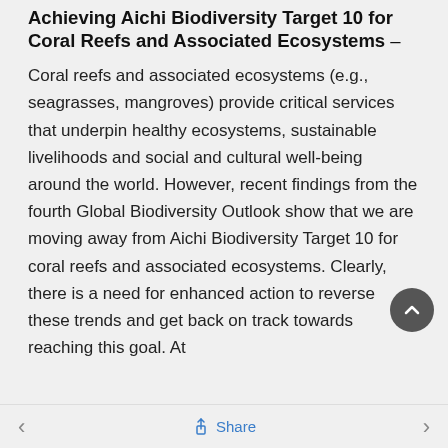Achieving Aichi Biodiversity Target 10 for Coral Reefs and Associated Ecosystems –
Coral reefs and associated ecosystems (e.g., seagrasses, mangroves) provide critical services that underpin healthy ecosystems, sustainable livelihoods and social and cultural well-being around the world. However, recent findings from the fourth Global Biodiversity Outlook show that we are moving away from Aichi Biodiversity Target 10 for coral reefs and associated ecosystems. Clearly, there is a need for enhanced action to reverse these trends and get back on track towards reaching this goal. At
< Share >